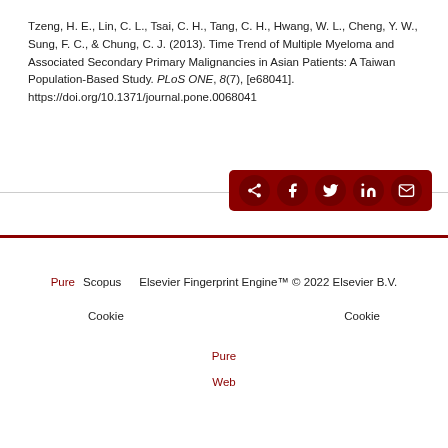Tzeng, H. E., Lin, C. L., Tsai, C. H., Tang, C. H., Hwang, W. L., Cheng, Y. W., Sung, F. C., & Chung, C. J. (2013). Time Trend of Multiple Myeloma and Associated Secondary Primary Malignancies in Asian Patients: A Taiwan Population-Based Study. PLoS ONE, 8(7), [e68041]. https://doi.org/10.1371/journal.pone.0068041
[Figure (other): Social share bar with share, Facebook, Twitter, LinkedIn, and email icons on dark red background]
Pure   Scopus     Elsevier Fingerprint Engine™ © 2022 Elsevier B.V.   Cookie   Cookie   Pure   Web